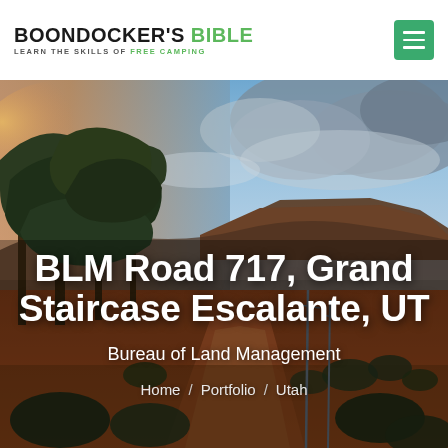BOONDOCKER'S BIBLE — LEARN THE SKILLS OF FREE CAMPING
[Figure (photo): Landscape photograph of a red dirt road through scrubland and trees under a dramatic partly cloudy blue sky with a flat-topped mesa in the background, Grand Staircase Escalante area, Utah]
BLM Road 717, Grand Staircase Escalante, UT
Bureau of Land Management
Home / Portfolio / Utah